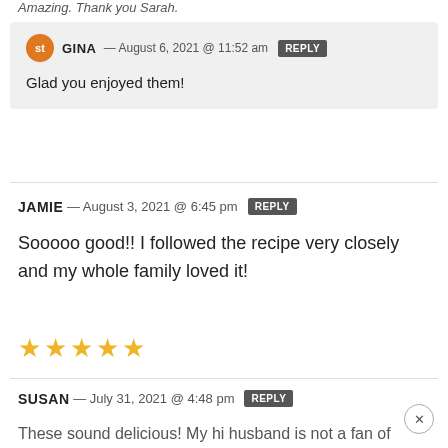Amazing. Thank you Sarah.
GINA — August 6, 2021 @ 11:52 am REPLY
Glad you enjoyed them!
JAMIE — August 3, 2021 @ 6:45 pm REPLY
Sooooo good!! I followed the recipe very closely and my whole family loved it!
★★★★★
SUSAN — July 31, 2021 @ 4:48 pm REPLY
These sound delicious! My hi husband is not a fan of